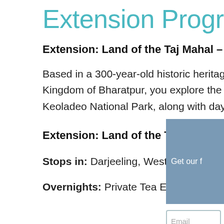Extension Programs
Extension: Land of the Taj Mahal – 5 Nights
Based in a 300-year-old historic heritage garden of the erstwhile princely state & Kingdom of Bharatpur, you explore the living Rajasthani traditions, museums, forts, Keoladeo National Park, along with day visits to Mughal Agra and the Taj Mahal.
Extension: Land of the Thunderbolt – 5 Nights
Stops in: Darjeeling, West Bengal
Overnights: Private Tea Estate